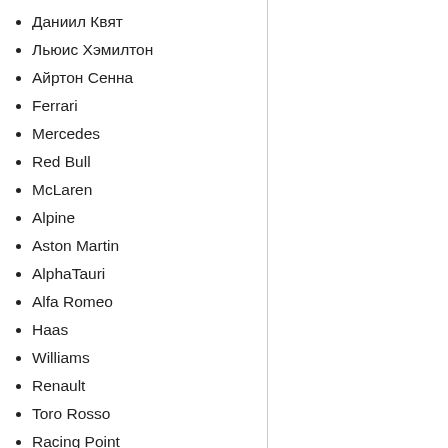Даниил Квят
Льюис Хэмилтон
Айртон Сенна
Ferrari
Mercedes
Red Bull
McLaren
Alpine
Aston Martin
AlphaTauri
Alfa Romeo
Haas
Williams
Renault
Toro Rosso
Racing Point
Lotus
Скоро в продаже